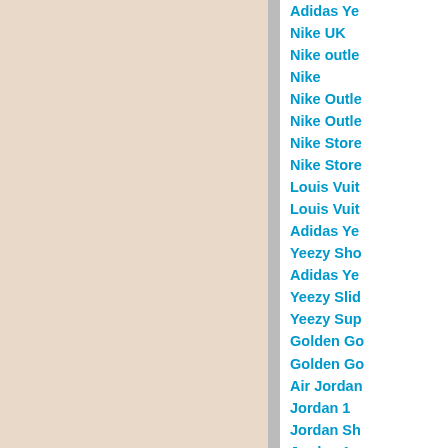Adidas Ye
Nike UK
Nike outle
Nike
Nike Outle
Nike Outle
Nike Store
Nike Store
Louis Vuit
Louis Vuit
Adidas Ye
Yeezy Sho
Adidas Ye
Yeezy Slid
Yeezy Sup
Golden Go
Golden Go
Air Jordan
Jordan 1
Jordan Sh
Jordan 1
Air Jordan